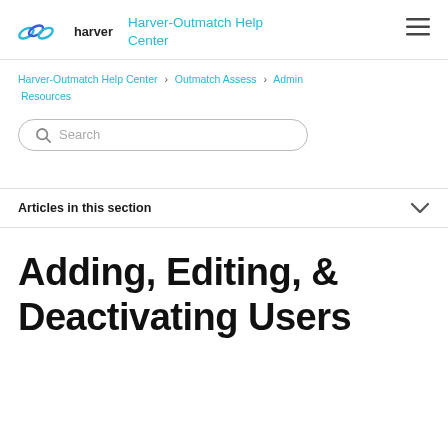Harver-Outmatch Help Center
Harver-Outmatch Help Center > Outmatch Assess > Admin Resources
Search
Articles in this section
Adding, Editing, & Deactivating Users